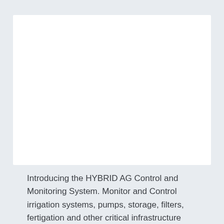[Figure (photo): White/blank area representing product image placeholder for the HYBRID AG Control and Monitoring System]
Introducing the HYBRID AG Control and Monitoring System. Monitor and Control irrigation systems, pumps, storage, filters, fertigation and other critical infrastructure